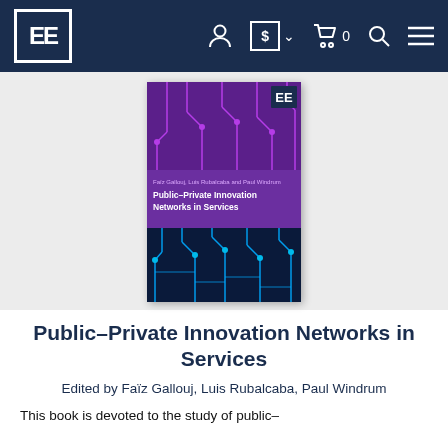EE [logo] — navigation bar with account, currency, cart, search, menu icons
[Figure (photo): Book cover of 'Public-Private Innovation Networks in Services', edited by Faiz Gallouj, Luis Rubalcaba and Paul Windrum. Cover features a circuit board / network design with purple and blue neon glowing lines on dark background. Published by Edward Elgar (EE logo in top right corner of cover).]
Public–Private Innovation Networks in Services
Edited by Faïz Gallouj, Luis Rubalcaba, Paul Windrum
This book is devoted to the study of public–